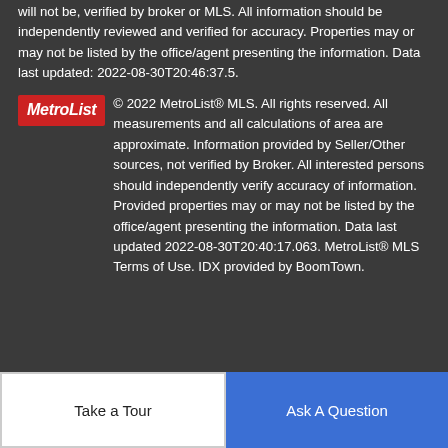will not be, verified by broker or MLS. All information should be independently reviewed and verified for accuracy. Properties may or may not be listed by the office/agent presenting the information. Data last updated: 2022-08-30T20:46:37.5.
© 2022 MetroList® MLS. All rights reserved. All measurements and all calculations of area are approximate. Information provided by Seller/Other sources, not verified by Broker. All interested persons should independently verify accuracy of information. Provided properties may or may not be listed by the office/agent presenting the information. Data last updated 2022-08-30T20:40:17.063. MetroList® MLS Terms of Use. IDX provided by BoomTown.
BoomTown! © 2022
Terms of Use | Privacy Policy | Accessibility | DMCA | Listings Sitemap
Take a Tour
Ask A Question